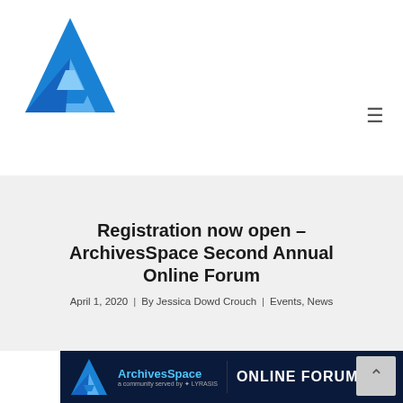[Figure (logo): ArchivesSpace logo — stylized blue letter A]
[Figure (other): Hamburger menu icon (three horizontal lines)]
Registration now open – ArchivesSpace Second Annual Online Forum
April 1, 2020 | By Jessica Dowd Crouch | Events, News
[Figure (screenshot): ArchivesSpace Online Forum banner image on dark navy background with ArchivesSpace logo and text 'ONLINE FORUM']